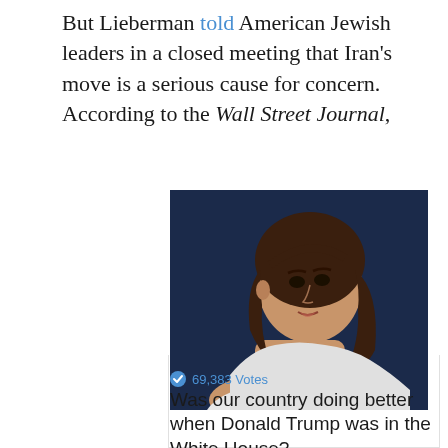But Lieberman told American Jewish leaders in a closed meeting that Iran's move is a serious cause for concern. According to the Wall Street Journal,
[Figure (photo): Photo of a woman speaking, shown from shoulders up against a dark navy background, wearing a white top, with medium-length brown hair.]
69,383 Votes
Was our country doing better when Donald Trump was in the White House?